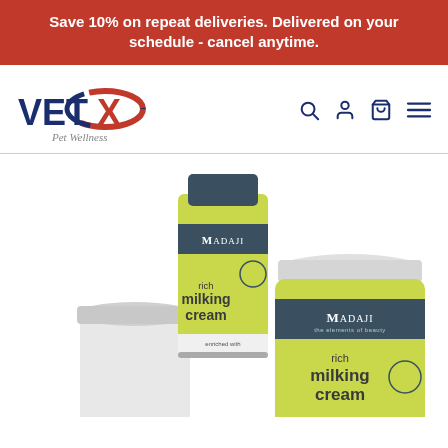Save 10% on repeat deliveries. Delivered on your schedule - cancel anytime.
[Figure (logo): VetX Pet Wellness logo with red swoosh/orbit graphic around the VET X text and Pet Wellness script underneath]
[Figure (infographic): Navigation icons: search magnifier, user person, shopping bag/cart, hamburger menu]
[Figure (photo): Madaji rich milking cream products - a tube and two jars with yellow-green and dark teal label design, showing the product from an e-commerce store]